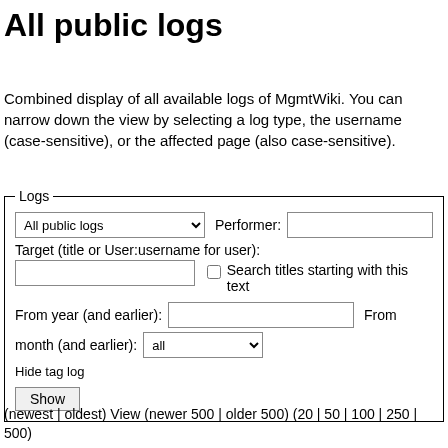All public logs
Combined display of all available logs of MgmtWiki. You can narrow down the view by selecting a log type, the username (case-sensitive), or the affected page (also case-sensitive).
[Figure (screenshot): A form fieldset labeled 'Logs' containing: a dropdown 'All public logs', a Performer text input, a Target text input with 'Search titles starting with this text' checkbox, From year input, From month dropdown set to 'all', Hide tag log checkbox, and a Show button.]
(newest | oldest) View (newer 500 | older 500) (20 | 50 | 100 | 250 | 500)